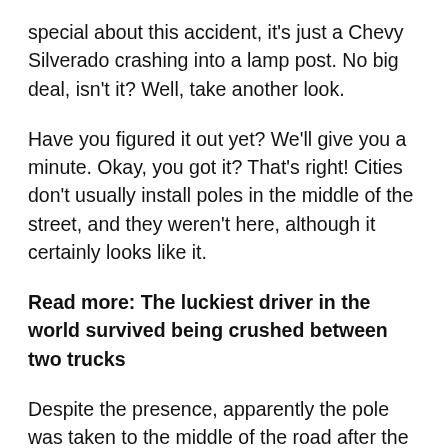special about this accident, it's just a Chevy Silverado crashing into a lamp post. No big deal, isn't it? Well, take another look.
Have you figured it out yet? We'll give you a minute. Okay, you got it? That's right! Cities don't usually install poles in the middle of the street, and they weren't here, although it certainly looks like it.
Read more: The luckiest driver in the world survived being crushed between two trucks
Despite the presence, apparently the pole was taken to the middle of the road after the truck